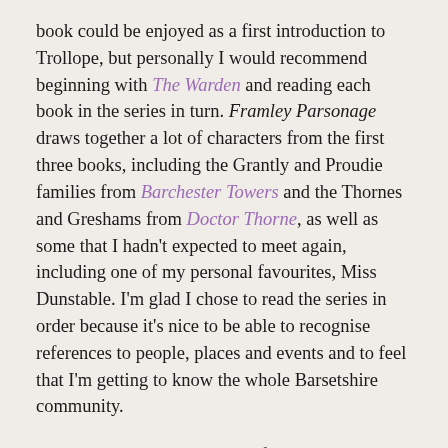book could be enjoyed as a first introduction to Trollope, but personally I would recommend beginning with The Warden and reading each book in the series in turn. Framley Parsonage draws together a lot of characters from the first three books, including the Grantly and Proudie families from Barchester Towers and the Thornes and Greshams from Doctor Thorne, as well as some that I hadn't expected to meet again, including one of my personal favourites, Miss Dunstable. I'm glad I chose to read the series in order because it's nice to be able to recognise references to people, places and events and to feel that I'm getting to know the whole Barsetshire community.
Framley Parsonage consists of two main storylines. In the first, we follow Mark Robarts, the vicar of Framley. Mark became vicar at a younger age than would normally be expected, due to the influence of